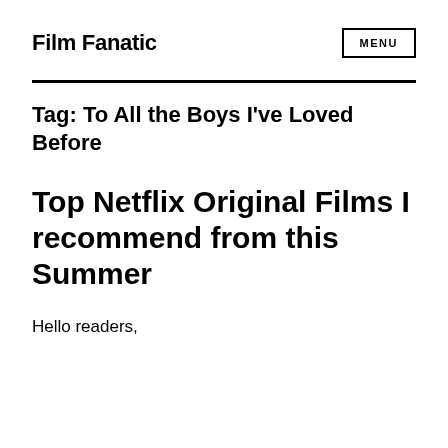Film Fanatic
MENU
Tag: To All the Boys I've Loved Before
Top Netflix Original Films I recommend from this Summer
Hello readers,